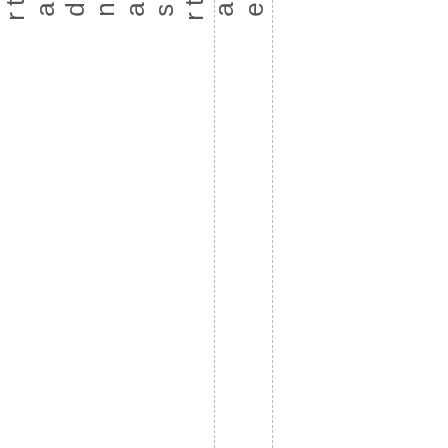e arts and arts education. We are dededi